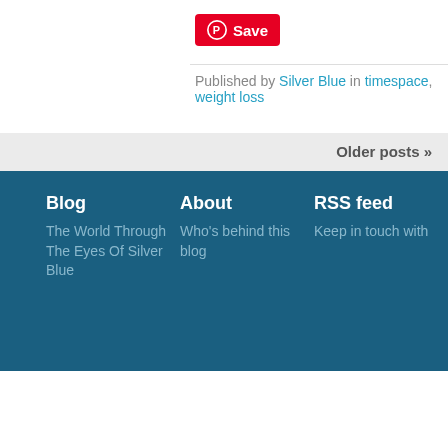[Figure (other): Pinterest Save button with red background and white Pinterest logo icon]
Published by Silver Blue in timespace, weight loss
Older posts »
Blog
The World Through The Eyes Of Silver Blue
About
Who's behind this blog
RSS feed
Keep in touch with